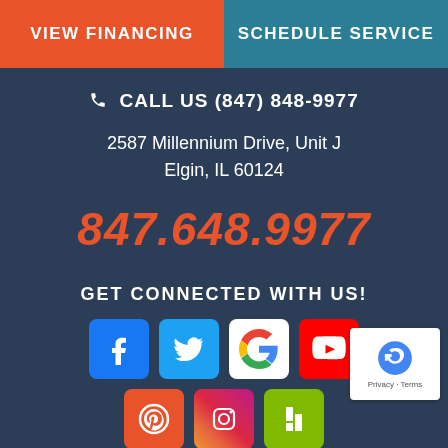VIEW FINANCING
SCHEDULE SERVICE
CALL US (847) 848-9977
2587 Millennium Drive, Unit J
Elgin, IL 60124
847.648.9977
GET CONNECTED WITH US!
[Figure (infographic): Social media icons: Facebook, Twitter, Google, YouTube, and partial bottom row of additional social icons, plus reCAPTCHA badge]